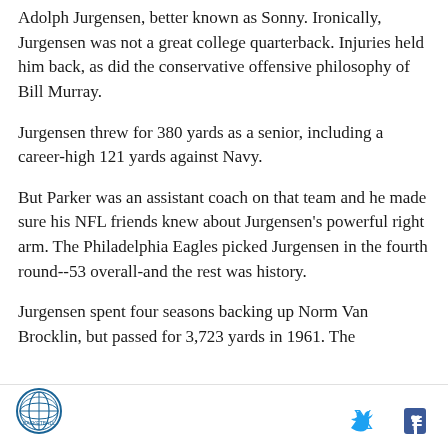Adolph Jurgensen, better known as Sonny. Ironically, Jurgensen was not a great college quarterback. Injuries held him back, as did the conservative offensive philosophy of Bill Murray.
Jurgensen threw for 380 yards as a senior, including a career-high 121 yards against Navy.
But Parker was an assistant coach on that team and he made sure his NFL friends knew about Jurgensen's powerful right arm. The Philadelphia Eagles picked Jurgensen in the fourth round--53 overall-and the rest was history.
Jurgensen spent four seasons backing up Norm Van Brocklin, but passed for 3,723 yards in 1961. The
[logo] [twitter] [facebook]